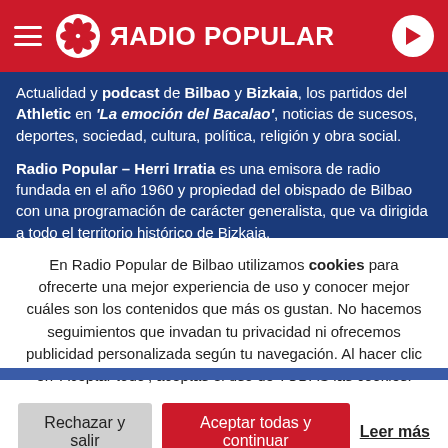RADIO POPULAR
Actualidad y podcast de Bilbao y Bizkaia, los partidos del Athletic en 'La emoción del Bacalao', noticias de sucesos, deportes, sociedad, cultura, política, religión y obra social.
Radio Popular – Herri Irratia es una emisora de radio fundada en el año 1960 y propiedad del obispado de Bilbao con una programación de carácter generalista, que va dirigida a todo el territorio histórico de Bizkaia.
Menciónanos en Twitter con @RadioPopular para comentar la actualidad de Bizkaia.
Fotos en colaboración con Depositphotos
En Radio Popular de Bilbao utilizamos cookies para ofrecerte una mejor experiencia de uso y conocer mejor cuáles son los contenidos que más os gustan. No hacemos seguimientos que invadan tu privacidad ni ofrecemos publicidad personalizada según tu navegación. Al hacer clic en 'Aceptar todo', aceptas el uso de TODAS las cookies.